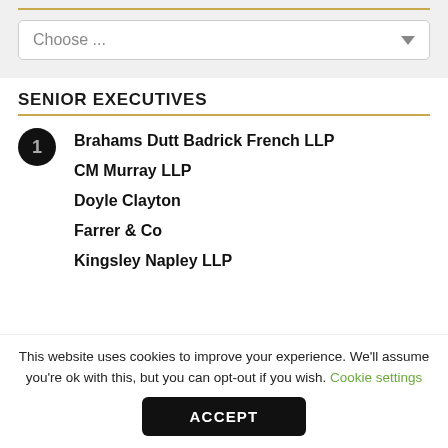[Figure (screenshot): Dropdown UI element with placeholder text 'Choose ...' and a downward arrow, on a light grey background with a gold horizontal rule above it.]
SENIOR EXECUTIVES
Brahams Dutt Badrick French LLP
CM Murray LLP
Doyle Clayton
Farrer & Co
Kingsley Napley LLP
This website uses cookies to improve your experience. We'll assume you're ok with this, but you can opt-out if you wish. Cookie settings
ACCEPT